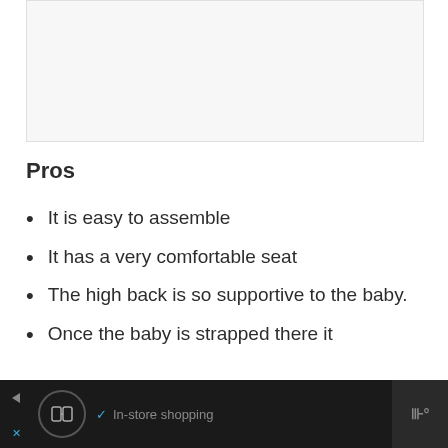[Figure (other): Image placeholder area, light gray background]
Pros
It is easy to assemble
It has a very comfortable seat
The high back is so supportive to the baby.
Once the baby is strapped there it
[Figure (other): Advertisement bar at bottom with shopping icons and navigation elements]